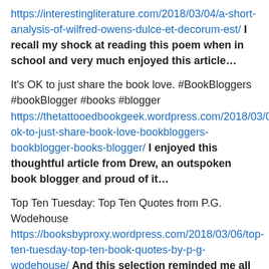https://interestingliterature.com/2018/03/04/a-short-analysis-of-wilfred-owens-dulce-et-decorum-est/ I recall my shock at reading this poem when in school and very much enjoyed this article…
It's OK to just share the book love. #BookBloggers #bookBlogger #books #blogger https://thetattooedbookgeek.wordpress.com/2018/03/06/its-ok-to-just-share-book-love-bookbloggers-bookblogger-books-blogger/ I enjoyed this thoughtful article from Drew, an outspoken book blogger and proud of it…
Top Ten Tuesday: Top Ten Quotes from P.G. Wodehouse https://booksbyproxy.wordpress.com/2018/03/06/top-ten-tuesday-top-ten-book-quotes-by-p-g-wodehouse/ And this selection reminded me all over again, why Wodehouse is remembered with such affection…